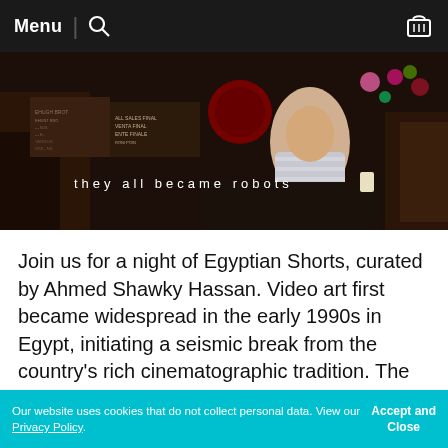Menu | [search icon] [cart icon]
[Figure (screenshot): Film still showing people in a busy market/shop setting with colorful signs, overlaid with white subtitle text: 'they all became robots']
Join us for a night of Egyptian Shorts, curated by Ahmed Shawky Hassan. Video art first became widespread in the early 1990s in Egypt, initiating a seismic break from the country’s rich cinematographic tradition. The genre offered a space to break free from the constraints of standard narrative, visual dictation, and entrenched definitions of image and audio
Our website uses cookies that do not collect personal data. View our Privacy Policy.  Accept and Close